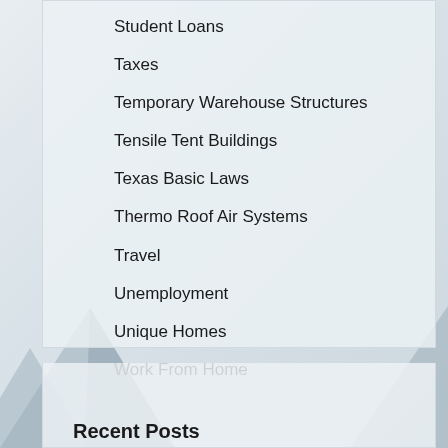Student Loans
Taxes
Temporary Warehouse Structures
Tensile Tent Buildings
Texas Basic Laws
Thermo Roof Air Systems
Travel
Unemployment
Unique Homes
Work From Home
Recent Posts